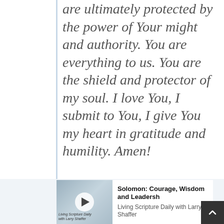are ultimately protected by the power of Your might and authority. You are everything to us. You are the shield and protector of my soul. I love You, I submit to You, I give You my heart in gratitude and humility. Amen!
[Figure (other): Podcast episode card with thumbnail image showing a desk/workspace background, a circular play button, and text 'Solomon: Courage, Wisdom and Leadership' with subtitle 'Living Scripture Daily with Larry Shaffer']